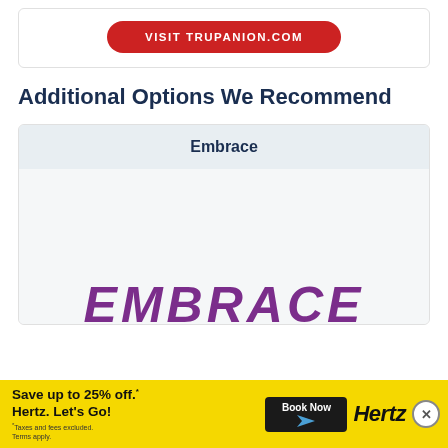[Figure (other): Red rounded button reading VISIT TRUPANION.COM inside a bordered white card]
Additional Options We Recommend
| Embrace |
| --- |
[Figure (logo): EMBRACE pet insurance logo text in large purple italic letters, partially visible at bottom of card]
[Figure (other): Yellow advertisement banner: Save up to 25% off. Hertz. Let's Go! with Book Now button and Hertz logo]